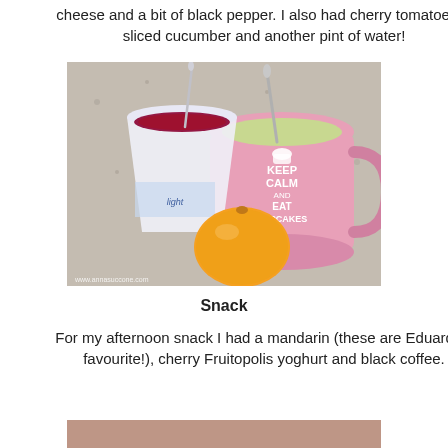cheese and a bit of black pepper. I also had cherry tomatoes & sliced cucumber and another pint of water!
[Figure (photo): Photo of a mandarin orange, a cup of cherry yoghurt with a spoon, and a pink mug saying 'KEEP CALM AND EAT CUPCAKES' on a granite counter. Watermark: www.annasuccone.com]
Snack
For my afternoon snack I had a mandarin (these are Eduardo's favourite!), cherry Fruitopolis yoghurt and black coffee.
[Figure (photo): Partial photo at bottom of page, cropped.]